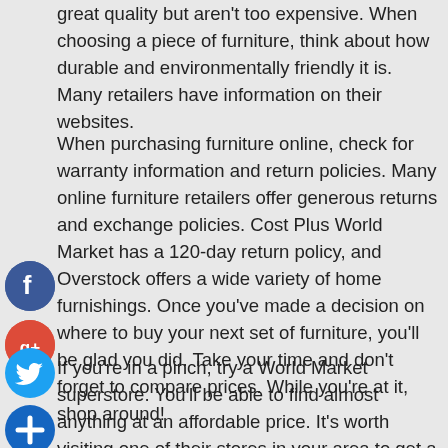great quality but aren't too expensive. When choosing a piece of furniture, think about how durable and environmentally friendly it is. Many retailers have information on their websites.
When purchasing furniture online, check for warranty information and return policies. Many online furniture retailers offer generous returns and exchange policies. Cost Plus World Market has a 120-day return policy, and Overstock offers a wide variety of home furnishings. Once you've made a decision on where to buy your next set of furniture, you'll be glad you did. Take your time and don't forget to compare prices. While you're at it, shop around!
If you're in a pinch, try a World Market superstore. You'll be able to find almost anything at an affordable price. It's worth visiting one of their stores in your area to get a feel for the style and colour scheme of your chosen furniture. The best place to buy a home-furnishing is the one where you can get a free consultation. You can even have a phone consultation.